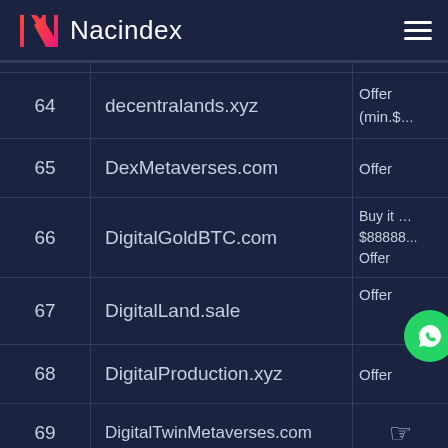Nacindex
| # | Domain | Action |
| --- | --- | --- |
| 64 | decentralands.xyz | Offer (min.$… |
| 65 | DexMetaverses.com | Offer |
| 66 | DigitalGoldBTC.com | Buy it … $88888… Offer |
| 67 | DigitalLand.sale | Offer … |
| 68 | DigitalProduction.xyz | Offer |
| 69 | DigitalTwinMetaverses.com |  |
| 70 | disneylandNFT.com | Offer |